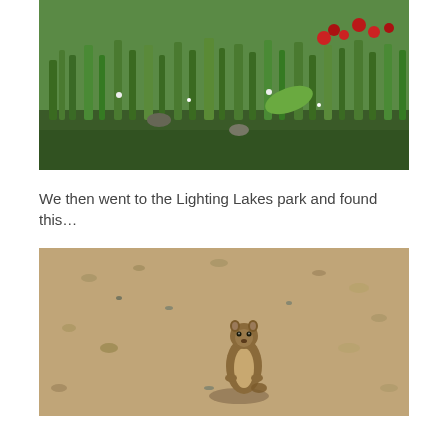[Figure (photo): Outdoor nature photo showing green grassy meadow with wildflowers including red and white flowers, taken at a park or natural area.]
We then went to the Lighting Lakes park and found this…
[Figure (photo): Photo of a ground squirrel or similar small rodent sitting upright on sandy/gravelly ground, casting a shadow.]